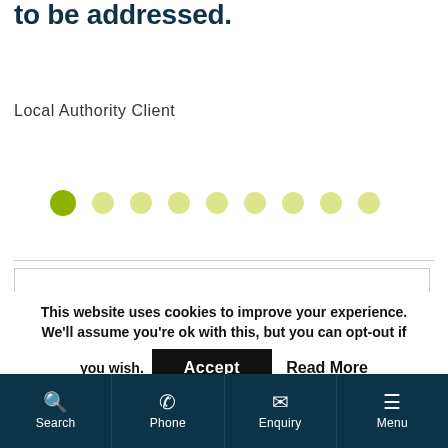to be addressed.
Local Authority Client
[Figure (infographic): A row of 9 circular dots used as a carousel/pagination indicator. The first dot is larger and fully opaque lime green (active), the remaining 8 are smaller and semi-transparent lime green.]
This website uses cookies to improve your experience. We'll assume you're ok with this, but you can opt-out if you wish.
Accept
Read More
Search  Phone  Enquiry  Menu